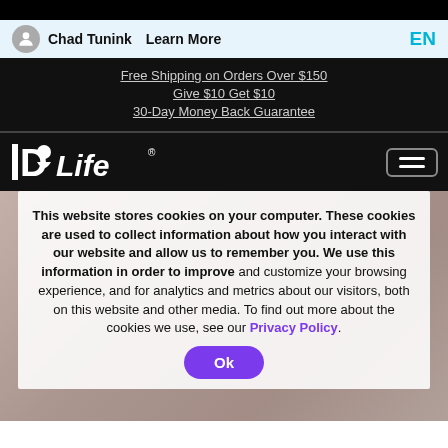Chad Tunink   Learn More   EN
Free Shipping on Orders Over $150
Give $10 Get $10
30-Day Money Back Guarantee
[Figure (logo): IDLife logo in white on black background with hamburger menu icon]
This website stores cookies on your computer. These cookies are used to collect information about how you interact with our website and allow us to remember you. We use this information in order to improve and customize your browsing experience, and for analytics and metrics about our visitors, both on this website and other media. To find out more about the cookies we use, see our Privacy Policy.
Ok